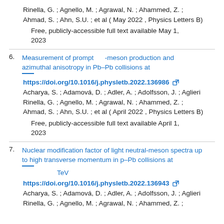Rinella, G. ; Agnello, M. ; Agrawal, N. ; Ahammed, Z. ; Ahmad, S. ; Ahn, S.U. ; et al ( May 2022 , Physics Letters B)
Free, publicly-accessible full text available May 1, 2023
6. Measurement of prompt -meson production and azimuthal anisotropy in Pb–Pb collisions at
https://doi.org/10.1016/j.physletb.2022.136986
Acharya, S. ; Adamová, D. ; Adler, A. ; Adolfsson, J. ; Aglieri Rinella, G. ; Agnello, M. ; Agrawal, N. ; Ahammed, Z. ; Ahmad, S. ; Ahn, S.U. ; et al ( April 2022 , Physics Letters B)
Free, publicly-accessible full text available April 1, 2023
7. Nuclear modification factor of light neutral-meson spectra up to high transverse momentum in p–Pb collisions at TeV
https://doi.org/10.1016/j.physletb.2022.136943
Acharya, S. ; Adamová, D. ; Adler, A. ; Adolfsson, J. ; Aglieri Rinella, G. ; Agnello, M. ; Agrawal, N. ; Ahammed, Z. ;